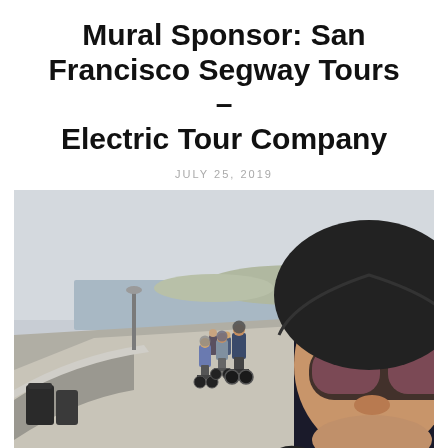Mural Sponsor: San Francisco Segway Tours – Electric Tour Company
JULY 25, 2019
[Figure (photo): A selfie taken by a smiling tour guide wearing a black helmet, aviator sunglasses, and a headset microphone, with a group of tourists riding Segways on a waterfront promenade behind them. The scene is overcast with a bay and distant hills visible in the background.]